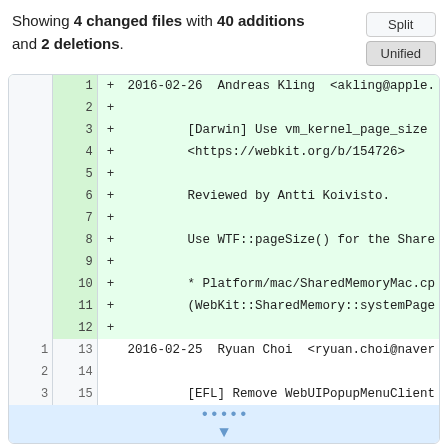Showing 4 changed files with 40 additions and 2 deletions.
| old_ln | new_ln | marker | code |
| --- | --- | --- | --- |
|  | 1 | + | 2016-02-26  Andreas Kling  <akling@apple. |
|  | 2 | + |  |
|  | 3 | + |         [Darwin] Use vm_kernel_page_size |
|  | 4 | + |         <https://webkit.org/b/154726> |
|  | 5 | + |  |
|  | 6 | + |         Reviewed by Antti Koivisto. |
|  | 7 | + |  |
|  | 8 | + |         Use WTF::pageSize() for the Share |
|  | 9 | + |  |
|  | 10 | + |         * Platform/mac/SharedMemoryMac.cp |
|  | 11 | + |         (WebKit::SharedMemory::systemPage |
|  | 12 | + |  |
| 1 | 13 |  | 2016-02-25  Ryuan Choi  <ryuan.choi@naver |
| 2 | 14 |  |  |
| 3 | 15 |  |         [EFL] Remove WebUIPopupMenuClient |